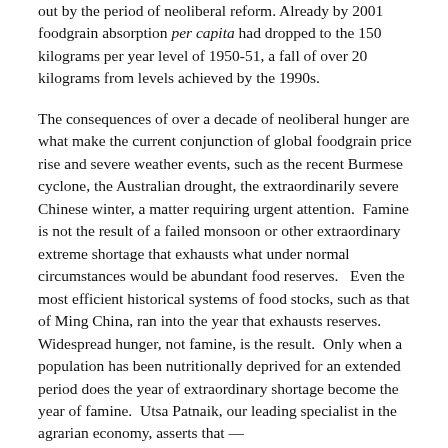out by the period of neoliberal reform. Already by 2001 foodgrain absorption per capita had dropped to the 150 kilograms per year level of 1950-51, a fall of over 20 kilograms from levels achieved by the 1990s.
The consequences of over a decade of neoliberal hunger are what make the current conjunction of global foodgrain price rise and severe weather events, such as the recent Burmese cyclone, the Australian drought, the extraordinarily severe Chinese winter, a matter requiring urgent attention.  Famine is not the result of a failed monsoon or other extraordinary extreme shortage that exhausts what under normal circumstances would be abundant food reserves.   Even the most efficient historical systems of food stocks, such as that of Ming China, ran into the year that exhausts reserves.  Widespread hunger, not famine, is the result.  Only when a population has been nutritionally deprived for an extended period does the year of extraordinary shortage become the year of famine.  Utsa Patnaik, our leading specialist in the agrarian economy, asserts that —